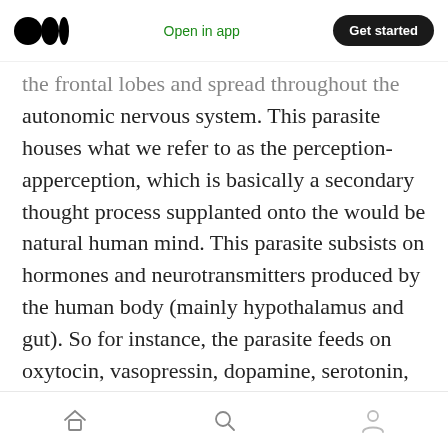Medium logo | Open in app | Get started
the frontal lobes and spread throughout the autonomic nervous system. This parasite houses what we refer to as the perception-apperception, which is basically a secondary thought process supplanted onto the would be natural human mind. This parasite subsists on hormones and neurotransmitters produced by the human body (mainly hypothalamus and gut). So for instance, the parasite feeds on oxytocin, vasopressin, dopamine, serotonin, insulin, epinephrine, norepinephrine, cortisol, etc.
It works like this…
Home | Search | Profile